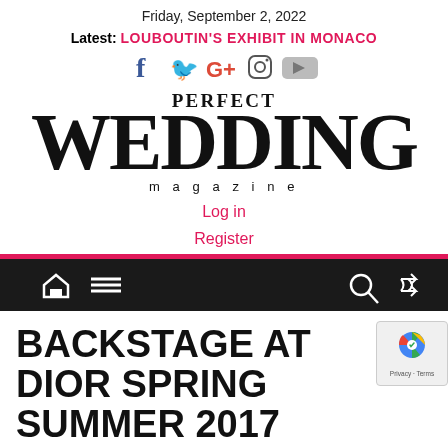Friday, September 2, 2022
Latest: LOUBOUTIN'S EXHIBIT IN MONACO
[Figure (logo): Social media icons: Facebook, Twitter, Google+, Instagram, YouTube]
PERFECT WEDDING magazine
Log in
Register
[Figure (infographic): Navigation bar with home icon, hamburger menu, search icon, and shuffle icon on dark background]
BACKSTAGE AT DIOR SPRING SUMMER 2017